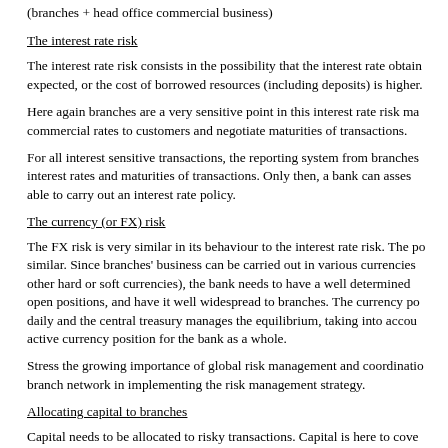(branches + head office commercial business)
The interest rate risk
The interest rate risk consists in the possibility that the interest rate obtained is lower than expected, or the cost of borrowed resources (including deposits) is higher.
Here again branches are a very sensitive point in this interest rate risk management as they apply commercial rates to customers and negotiate maturities of transactions.
For all interest sensitive transactions, the reporting system from branches must report on interest rates and maturities of transactions. Only then, a bank can assess its positions and be able to carry out an interest rate policy.
The currency (or FX) risk
The FX risk is very similar in its behaviour to the interest rate risk. The positions can behave similar. Since branches' business can be carried out in various currencies (domestic currency and other hard or soft currencies), the bank needs to have a well determined FX policy, monitor open positions, and have it well widespread to branches. The currency position is computed daily and the central treasury manages the equilibrium, taking into account an active or passive active currency position for the bank as a whole.
Stress the growing importance of global risk management and coordination of the branch network in implementing the risk management strategy.
Allocating capital to branches
Capital needs to be allocated to risky transactions. Capital is here to cover losses. The level of capital is the responsibility of bank's top management and closely depends on the level of risk activities.